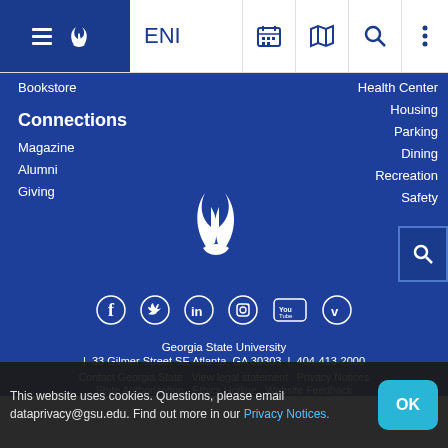ENI — Georgia State University navigation bar
Bookstore
Connections
Magazine
Alumni
Giving
Health Center
Housing
Parking
Dining
Recreation
Safety
[Figure (logo): Georgia State University flame logo, white on blue background]
[Figure (infographic): Social media icons: Facebook, Twitter, LinkedIn, Instagram, YouTube, Vimeo]
Georgia State University | 33 Gilmer Street SE Atlanta, GA 30303 | 404-413-2000
Contact Georgia State   View legal statement   Privacy Notices   State Authorization   Ethics Hotline   Website Feedback
This website uses cookies. Questions, please email dataprivacy@gsu.edu. Find out more in our Privacy Notices.